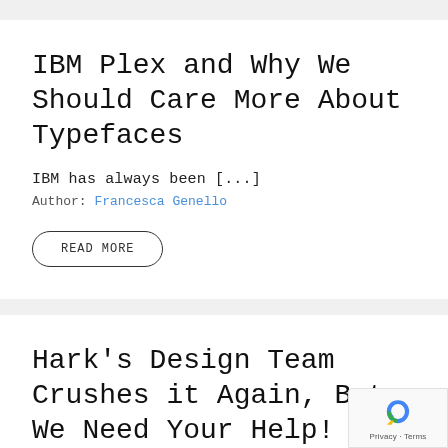IBM Plex and Why We Should Care More About Typefaces
IBM has always been [...]
Author: Francesca Genello
READ MORE
Hark's Design Team Crushes it Again, But We Need Your Help!
The the the tion of...